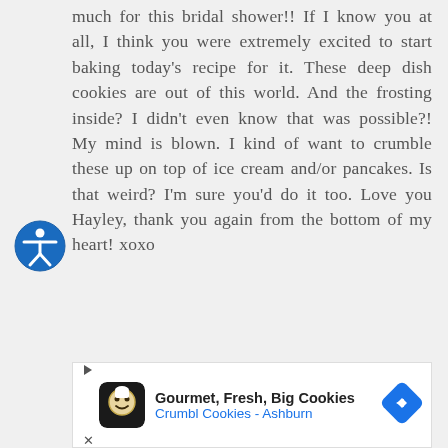much for this bridal shower!! If I know you at all, I think you were extremely excited to start baking today's recipe for it. These deep dish cookies are out of this world. And the frosting inside? I didn't even know that was possible?! My mind is blown. I kind of want to crumble these up on top of ice cream and/or pancakes. Is that weird? I'm sure you'd do it too. Love you Hayley, thank you again from the bottom of my heart! xoxo
[Figure (other): Accessibility icon — blue circle with white human figure symbol]
[Figure (other): Advertisement banner: Gourmet, Fresh, Big Cookies — Crumbl Cookies - Ashburn, with logo and navigation arrow icon]